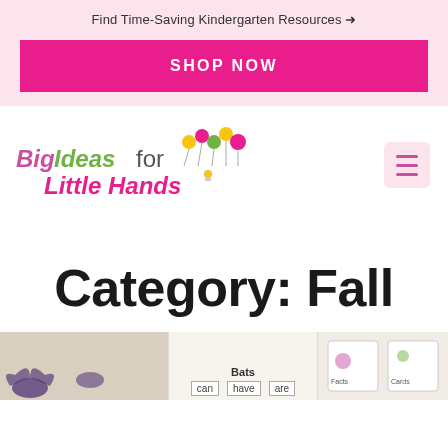Find Time-Saving Kindergarten Resources →
SHOP NOW
[Figure (logo): Big Ideas for Little Hands logo with colorful balloon illustrations]
Category: Fall
[Figure (photo): Preview of educational worksheet with bats theme showing 'can', 'have', 'are' word cards]